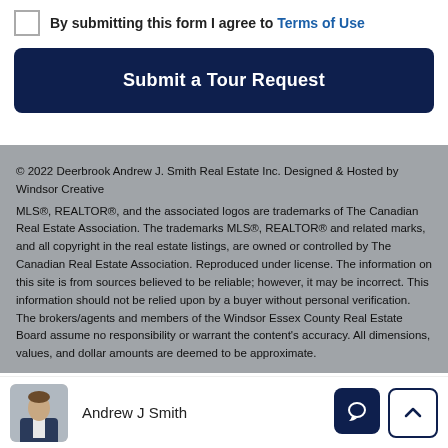By submitting this form I agree to Terms of Use
Submit a Tour Request
© 2022 Deerbrook Andrew J. Smith Real Estate Inc. Designed & Hosted by Windsor Creative
MLS®, REALTOR®, and the associated logos are trademarks of The Canadian Real Estate Association. The trademarks MLS®, REALTOR® and related marks, and all copyright in the real estate listings, are owned or controlled by The Canadian Real Estate Association. Reproduced under license. The information on this site is from sources believed to be reliable; however, it may be incorrect. This information should not be relied upon by a buyer without personal verification. The brokers/agents and members of the Windsor Essex County Real Estate Board assume no responsibility or warrant the content's accuracy. All dimensions, values, and dollar amounts are deemed to be approximate.
Andrew J Smith